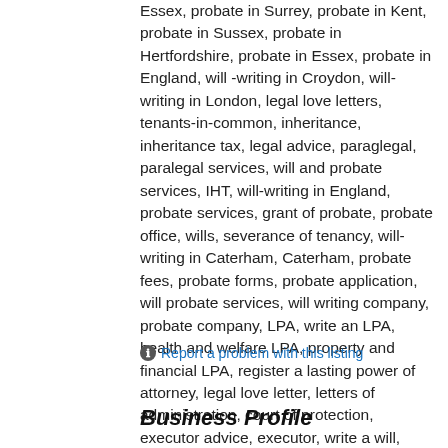Essex, probate in Surrey, probate in Kent, probate in Sussex, probate in Hertfordshire, probate in Essex, probate in England, will -writing in Croydon, will-writing in London, legal love letters, tenants-in-common, inheritance, inheritance tax, legal advice, paraglegal, paralegal services, will and probate services, IHT, will-writing in England, probate services, grant of probate, probate office, wills, severance of tenancy, will-writing in Caterham, Caterham, probate fees, probate forms, probate application, will probate services, will writing company, probate company, LPA, write an LPA, health and welfare LPA, property and financial LPA, register a lasting power of attorney, legal love letter, letters of administration, court of protection, executor advice, executor, write a will, draft a will, draft will, contest will, will probate, services, care home, storage, will storage, richard branson blog, willandprobate.com, legalloveletters.com
Report a problem with this listing
Business Profile